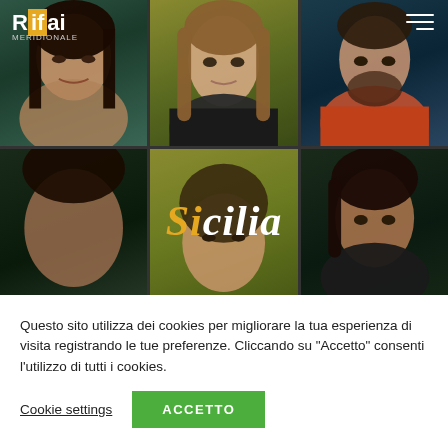[Figure (photo): Grid of six portrait photos (3 columns × 2 rows) of people's faces against colored backgrounds (teal, yellow-green, dark teal). Overlaid text reads 'Sicilia' in italic serif font, with 'Si' in gold/amber and 'cilia' in white. A hamburger menu icon appears top-right and the Rifai logo top-left.]
Questo sito utilizza dei cookies per migliorare la tua esperienza di visita registrando le tue preferenze. Cliccando su "Accetto" consenti l'utilizzo di tutti i cookies.
Cookie settings
ACCETTO